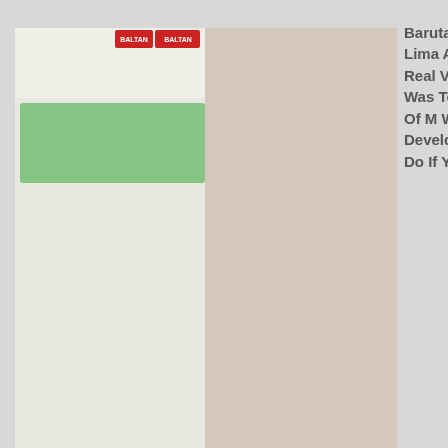[Figure (photo): DVD/video product cover image showing Japanese AV title BACJ-001 by Barutan/Baltan label featuring Lima Arai]
Barutan BACJ-001 What Would Lima Arai Do In Such A Case Real Verification Document I Was Told That It Was A Shooting Of M Woman But The Opposite Development What Would You Do If You Were An AV Actress
Against An M Man